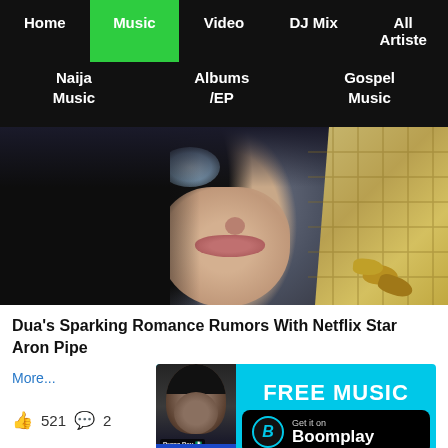Home | Music | Video | DJ Mix | All Artiste | Naija Music | Albums /EP | Gospel Music
[Figure (photo): Close-up photo of a woman with dark hair holding an ice cream cone with gold nails, face shown from nose down]
Dua's Sparking Romance Rumors With Netflix Star Aron Pipe
More...
521
[Figure (other): Boomplay ad banner with FREE MUSIC text and Get it on Boomplay button, with Burna Boy thumbnail on left side]
[Figure (photo): Bottom strip showing partial cyan/blue image]